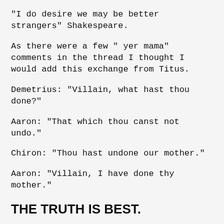"I do desire we may be better strangers" Shakespeare.
As there were a few " yer mama" comments in the thread I thought I would add this exchange from Titus.
Demetrius: "Villain, what hast thou done?"
Aaron: "That which thou canst not undo."
Chiron: "Thou hast undone our mother."
Aaron: "Villain, I have done thy mother."
THE TRUTH IS BEST.